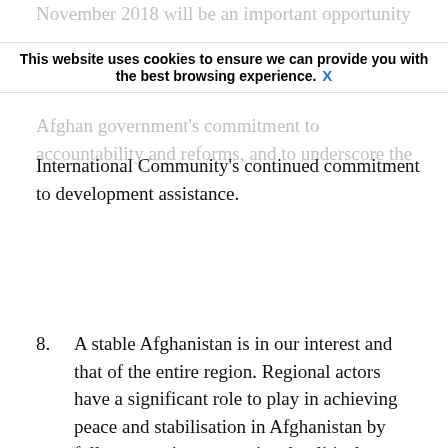November 2018 will be an important opportunity
This website uses cookies to ensure we can provide you with the best browsing experience.  X
Afghan government's commitment to accountability and reforms, and to underscore the International Community's continued commitment to development assistance.
8. A stable Afghanistan is in our interest and that of the entire region. Regional actors have a significant role to play in achieving peace and stabilisation in Afghanistan by fully supporting a negotiated political solution, by not lending any form of support to the insurgency, by improving conditions for Afghan economic development, and by working with the Afghan government to combat terrorism. We encourage Pakistan to continue to act on its stated support for a political solution to the conflict, to close terrorist sanctuaries and to work to prevent terrorist financial flows and cross-border attacks, including by working with its neighbours. In this regard, we